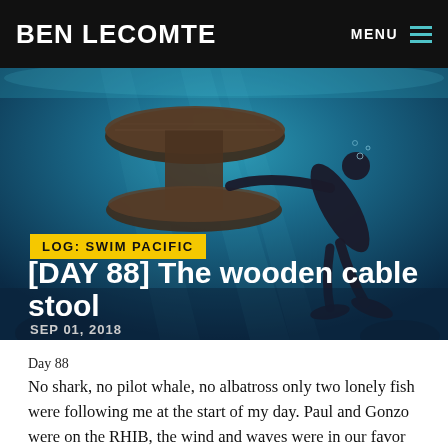BEN LECOMTE
[Figure (photo): Underwater photograph showing a diver in a wetsuit with fins swimming near a large circular wooden structure (cable spool/stool) submerged in blue ocean water.]
LOG: SWIM PACIFIC
[DAY 88] The wooden cable stool
SEP 01, 2018
Day 88
No shark, no pilot whale, no albatross only two lonely fish were following me at the start of my day. Paul and Gonzo were on the RHIB, the wind and waves were in our favor